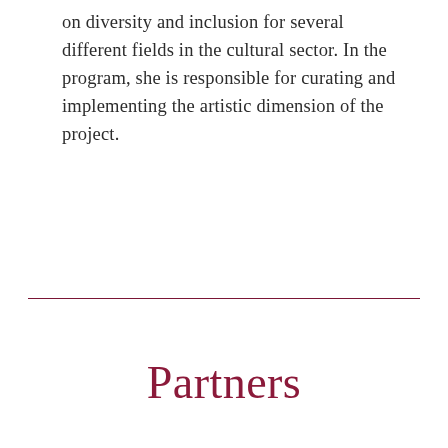on diversity and inclusion for several different fields in the cultural sector. In the program, she is responsible for curating and implementing the artistic dimension of the project.
Partners